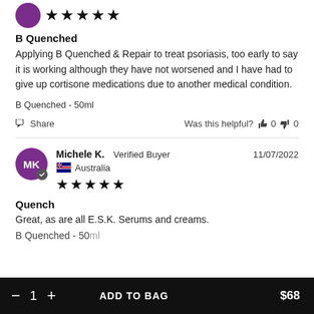[Figure (other): Purple circular avatar icon (partial, cropped at top) with 5 black star rating below it]
B Quenched
Applying B Quenched & Repair to treat psoriasis, too early to say it is working although they have not worsened and I have had to give up cortisone medications due to another medical condition.
B Quenched - 50ml
Share  Was this helpful?  0  0
[Figure (other): Purple circular avatar with initials MK and a small verified badge, next to reviewer name Michele K., Verified Buyer, date 11/07/2022, Australia flag, and 5 black stars]
Quench
Great, as are all E.S.K. Serums and creams.
B Quenched - 50ml (partially visible/cut off)
ADD TO BAG  $68